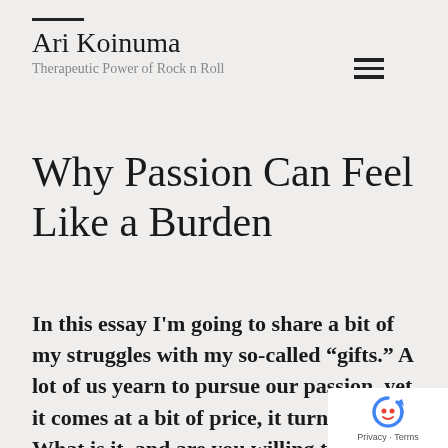Ari Koinuma
Therapeutic Power of Rock n Roll
Why Passion Can Feel Like a Burden
In this essay I'm going to share a bit of my struggles with my so-called “gifts.”  A lot of us yearn to pursue our passion, yet it comes at a bit of price, it turns out. What is it, and are you willing to